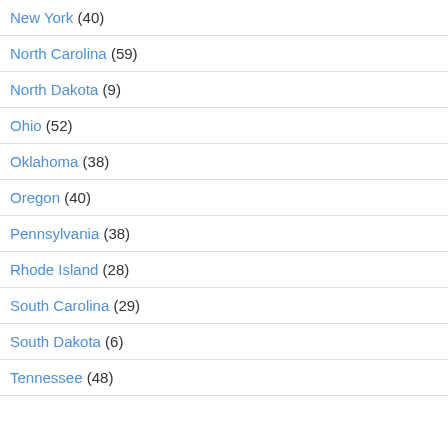New York (40)
North Carolina (59)
North Dakota (9)
Ohio (52)
Oklahoma (38)
Oregon (40)
Pennsylvania (38)
Rhode Island (28)
South Carolina (29)
South Dakota (6)
Tennessee (48)